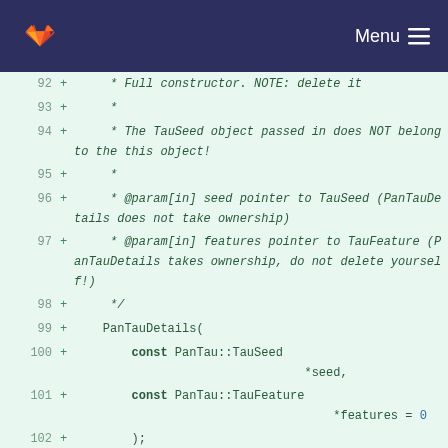GitLab — Menu
[Figure (screenshot): Code diff view showing lines 92-102 of a C++ header file with PanTauDetails constructor documentation and declaration. Lines show added ('+') content on a light green background.]